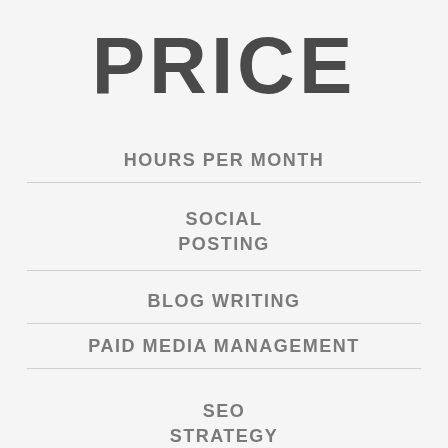PRICE
HOURS PER MONTH
SOCIAL POSTING
BLOG WRITING
PAID MEDIA MANAGEMENT
SEO STRATEGY